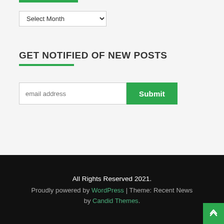GET NOTIFIED OF NEW POSTS
email address
All Rights Reserved 2021.
Proudly powered by WordPress | Theme: Recent News by Candid Themes.